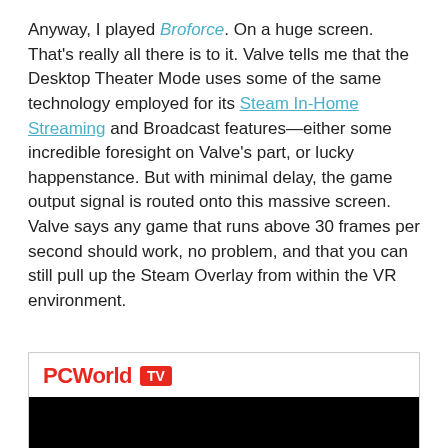Anyway, I played Broforce. On a huge screen. That's really all there is to it. Valve tells me that the Desktop Theater Mode uses some of the same technology employed for its Steam In-Home Streaming and Broadcast features—either some incredible foresight on Valve's part, or lucky happenstance. But with minimal delay, the game output signal is routed onto this massive screen. Valve says any game that runs above 30 frames per second should work, no problem, and that you can still pull up the Steam Overlay from within the VR environment.
[Figure (screenshot): PCWorld TV logo banner with red PCWorld text and red TV badge, above a black video player area]